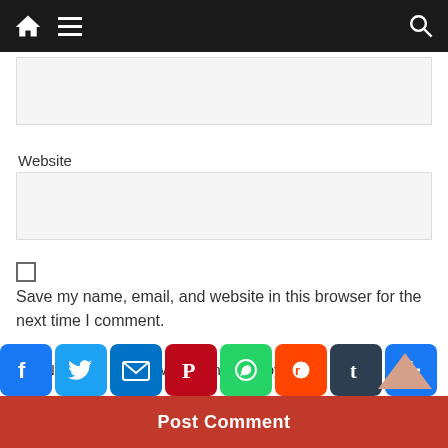Navigation bar with home, menu, and search icons
Website
Save my name, email, and website in this browser for the next time I comment.
Notify me of follow-up comments by email.
Notify me of new posts by email.
Post Comment